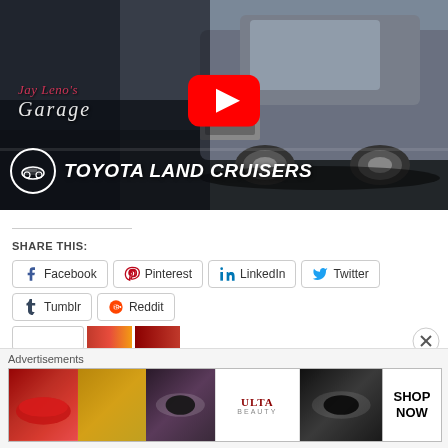[Figure (screenshot): YouTube video thumbnail for Jay Leno's Garage - Toyota Land Cruisers episode, showing a Toyota Land Cruiser SUV with YouTube play button overlay and show branding]
SHARE THIS:
Facebook  Pinterest  LinkedIn  Twitter  Tumblr  Reddit
[Figure (other): Advertisement banner showing Ulta Beauty cosmetics ad with lips, brush, eye makeup, and SHOP NOW call to action]